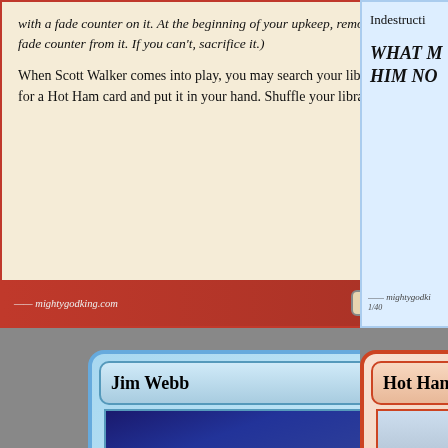[Figure (illustration): Magic: The Gathering style card (top-left, cropped). Card text reads in italic: 'with a fade counter on it. At the beginning of your upkeep, remove a fade counter from it. If you can't, sacrifice it.)' Then regular text: 'When Scott Walker comes into play, you may search your library for a Hot Ham card and put it in your hand. Shuffle your library.' Power/toughness: 3/1. Website: mightygodking.com]
[Figure (illustration): Magic: The Gathering style card (top-right, partially visible). Text reads 'Indestructi...' and 'WHAT M... HIM NO...' Website: mightygodki...]
[Figure (illustration): Magic: The Gathering style card for 'Jim Webb'. Header shows name 'Jim Webb' with three blue mana symbols. Image shows Jim Webb at a CNN debate smiling in a suit. Type line: 'Legendary Creature — Democratic Candidate' with brush symbol. Bottom text box partially visible.]
[Figure (illustration): Magic: The Gathering style card (bottom-right, partially visible) for 'Hot Ham'. Header shows 'Hot Ham'. Image shows person at food counter. Type line: 'Instant'. Text box begins: 'Put a fadi...']